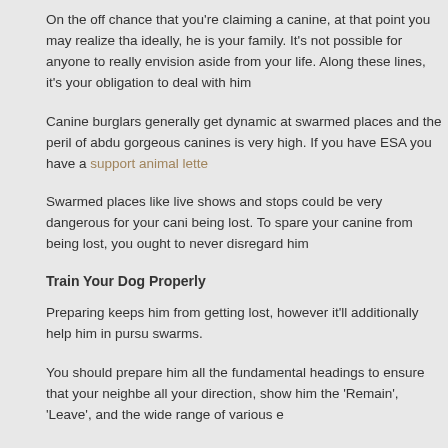On the off chance that you're claiming a canine, at that point you may realize that ideally, he is your family. It's not possible for anyone to really envision aside from your life. Along these lines, it's your obligation to deal with him
Canine burglars generally get dynamic at swarmed places and the peril of abducting gorgeous canines is very high. If you have ESA you have a support animal lette
Swarmed places like live shows and stops could be very dangerous for your canine being lost. To spare your canine from being lost, you ought to never disregard him
Train Your Dog Properly
Preparing keeps him from getting lost, however it'll additionally help him in pursuing swarms.
You should prepare him all the fundamental headings to ensure that your neighbor all your direction, show him the 'Remain', 'Leave', and the wide range of various e
Get yourself fortunate! Enthusiastic help creatures are permitted to fly with their p Notwithstanding, terms, and conditions may apply. However, you can possibly gu have a genuine ESA letter.
Variation Identification and Tracking Options